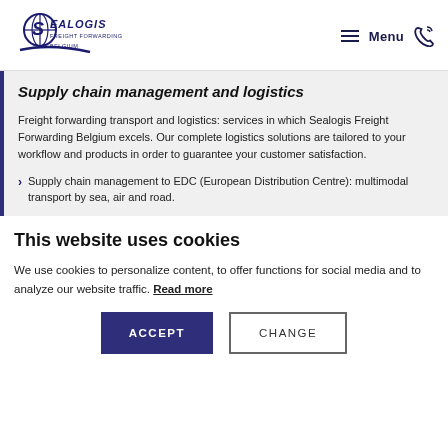[Figure (logo): Sealogis Freight Forwarding Belgium logo with globe icon and stylized text]
Supply chain management and logistics
Freight forwarding transport and logistics: services in which Sealogis Freight Forwarding Belgium excels. Our complete logistics solutions are tailored to your workflow and products in order to guarantee your customer satisfaction.
Supply chain management to EDC (European Distribution Centre): multimodal transport by sea, air and road.
This website uses cookies
We use cookies to personalize content, to offer functions for social media and to analyze our website traffic. Read more